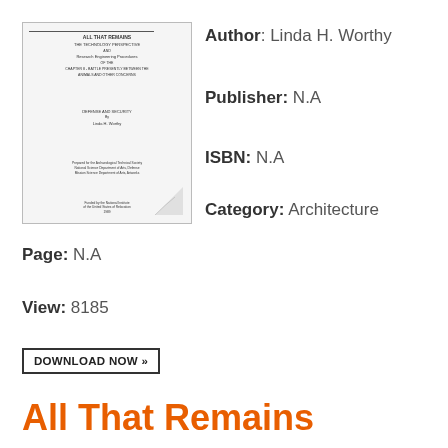[Figure (illustration): Thumbnail image of a book cover, showing small text lines and a page-curl effect at the bottom right corner.]
Author: Linda H. Worthy
Publisher: N.A
ISBN: N.A
Category: Architecture
Page: N.A
View: 8185
DOWNLOAD NOW »
All That Remains